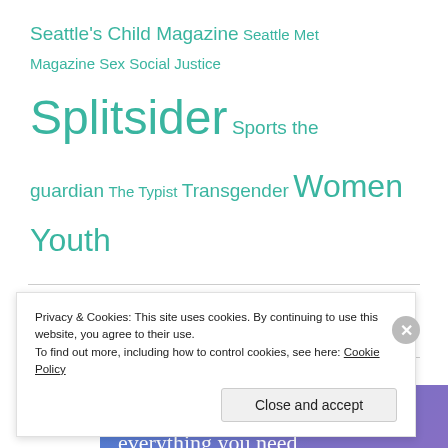Seattle's Child Magazine Seattle Met Magazine Sex Social Justice Splitsider Sports the guardian The Typist Transgender Women Youth
[Figure (other): Advertisement banner with gradient blue/purple background reading 'Simplified pricing for everything you need']
Advertisements
Privacy & Cookies: This site uses cookies. By continuing to use this website, you agree to their use.
To find out more, including how to control cookies, see here: Cookie Policy
Close and accept